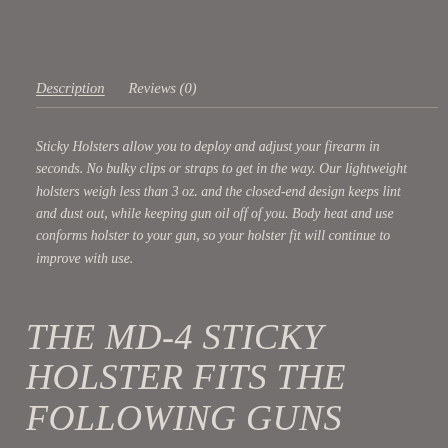Description   Reviews (0)
Sticky Holsters allow you to deploy and adjust your firearm in seconds. No bulky clips or straps to get in the way. Our lightweight holsters weigh less than 3 oz. and the closed-end design keeps lint and dust out, while keeping gun oil off of you. Body heat and use conforms holster to your gun, so your holster fit will continue to improve with use.
THE MD-4 STICKY HOLSTER FITS THE FOLLOWING GUNS